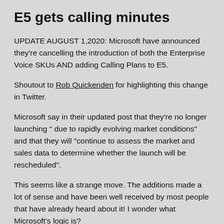E5 gets calling minutes
UPDATE AUGUST 1,2020: Microsoft have announced they're cancelling the introduction of both the Enterprise Voice SKUs AND adding Calling Plans to E5.
Shoutout to Rob Quickenden for highlighting this change in Twitter.
Microsoft say in their updated post that they're no longer launching " due to rapidly evolving market conditions" and that they will "continue to assess the market and sales data to determine whether the launch will be rescheduled".
This seems like a strange move. The additions made a lot of sense and have been well received by most people that have already heard about it! I wonder what Microsoft's logic is?